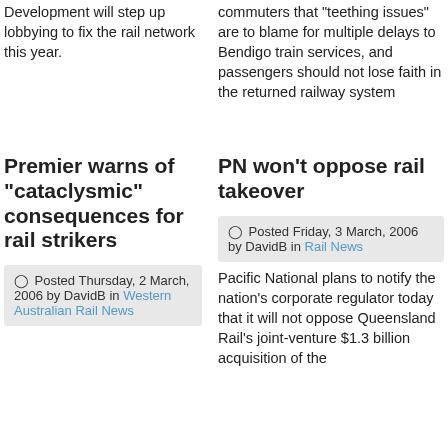Development will step up lobbying to fix the rail network this year.
commuters that "teething issues" are to blame for multiple delays to Bendigo train services, and passengers should not lose faith in the returned railway system
Premier warns of "cataclysmic" consequences for rail strikers
PN won't oppose rail takeover
Posted Thursday, 2 March, 2006 by DavidB in Western Australian Rail News
Posted Friday, 3 March, 2006 by DavidB in Rail News
Pacific National plans to notify the nation's corporate regulator today that it will not oppose Queensland Rail's joint-venture $1.3 billion acquisition of the